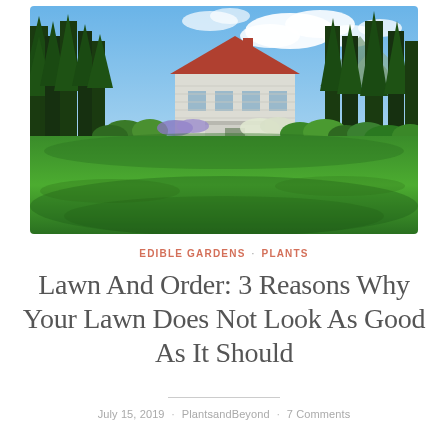[Figure (photo): A white farmhouse with a lush green lawn in the foreground, surrounded by tall pine trees, flowering shrubs, and a bright blue sky with white clouds.]
EDIBLE GARDENS · PLANTS
Lawn And Order: 3 Reasons Why Your Lawn Does Not Look As Good As It Should
July 15, 2019 · PlantsandBeyond · 7 Comments